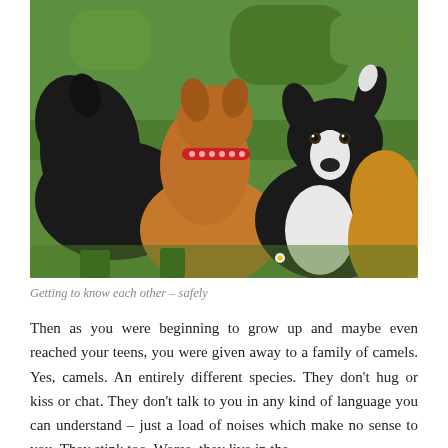[Figure (photo): Three dogs on grass – a black dog on the left, a brown/tan dog with a red collar in the middle facing away from camera, and a black-and-white Border Collie on the right facing forward. They appear to be sniffing and interacting with each other on a green lawn.]
Getting to know each other – safely
Then as you were beginning to grow up and maybe even reached your teens, you were given away to a family of camels. Yes, camels. An entirely different species. They don't hug or kiss or chat. They don't talk to you in any kind of language you can understand – just a load of noises which make no sense to you. They stink too. Worse, they live in the